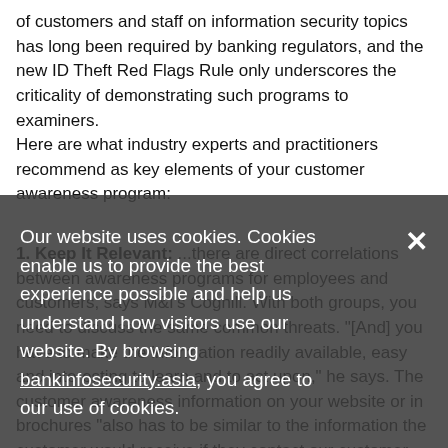of customers and staff on information security topics has long been required by banking regulators, and the new ID Theft Red Flags Rule only underscores the criticality of demonstrating such programs to examiners. Here are what industry experts and practitioners recommend as key elements of your customer awareness program:
1. Keep It Relevant: ...there are direct correlations between awareness programs for employees and customers, says M&I's Coghill. With both groups, you need to discuss the same common threats. '[And] you have to make the information readily available, easy and interesting to learn and to act upon,' he says. The customer awareness information on your website or in brochures 'also has to be similar to the information the customer would receive if they contact our customer call center,' he says. You don't
Our website uses cookies. Cookies enable us to provide the best experience possible and help us understand how visitors use our website. By browsing bankinfosecurity.asia, you agree to our use of cookies.